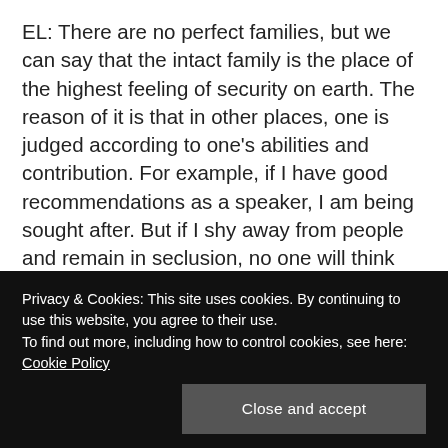EL: There are no perfect families, but we can say that the intact family is the place of the highest feeling of security on earth. The reason of it is that in other places, one is judged according to one's abilities and contribution. For example, if I have good recommendations as a speaker, I am being sought after. But if I shy away from people and remain in seclusion, no one will think that I am a good speaker. This is not the same in the family. In the family, when it is intact, one feels valued. Regardless of one's appearance, even if one is unproductive, one is valued for who one is, whether one is young or old,
Privacy & Cookies: This site uses cookies. By continuing to use this website, you agree to their use.
To find out more, including how to control cookies, see here: Cookie Policy
Close and accept
sense of self worth, that helps them to face whatever